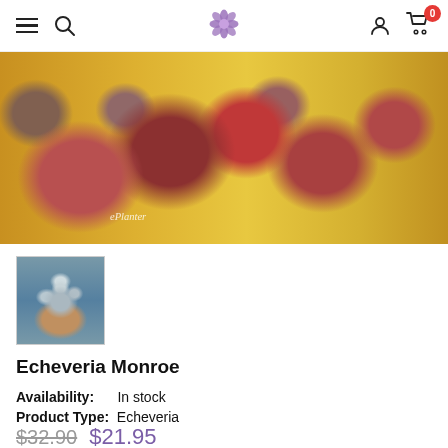Navigation bar with hamburger menu, search icon, flower logo, user icon, and cart (0)
[Figure (photo): Close-up hero photo of colorful succulent plants (Echeveria) with red, pink, purple and yellow hues, with watermark text 'ePlanter']
[Figure (photo): Thumbnail image of a single Echeveria Monroe succulent with blue-grey rosette on brownish base]
Echeveria Monroe
Availability:      In stock
Product Type:   Echeveria
$32.90  $21.95